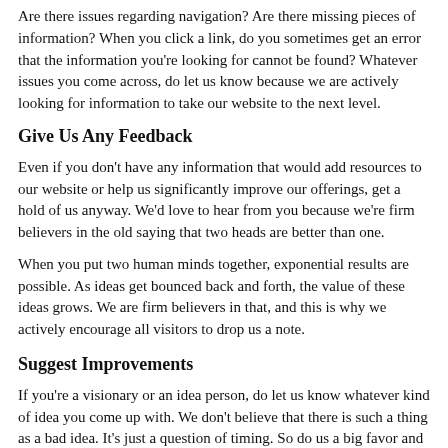Are there issues regarding navigation? Are there missing pieces of information? When you click a link, do you sometimes get an error that the information you're looking for cannot be found? Whatever issues you come across, do let us know because we are actively looking for information to take our website to the next level.
Give Us Any Feedback
Even if you don't have any information that would add resources to our website or help us significantly improve our offerings, get a hold of us anyway. We'd love to hear from you because we're firm believers in the old saying that two heads are better than one.
When you put two human minds together, exponential results are possible. As ideas get bounced back and forth, the value of these ideas grows. We are firm believers in that, and this is why we actively encourage all visitors to drop us a note.
Suggest Improvements
If you're a visionary or an idea person, do let us know whatever kind of idea you come up with. We don't believe that there is such a thing as a bad idea. It's just a question of timing. So do us a big favor and